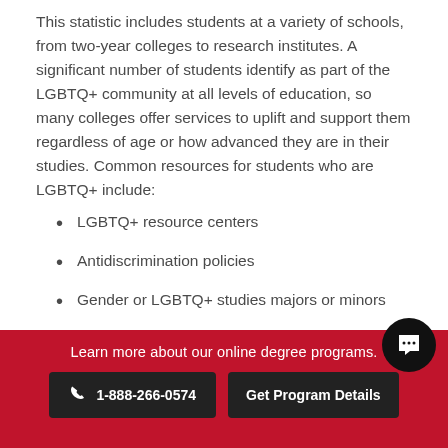This statistic includes students at a variety of schools, from two-year colleges to research institutes. A significant number of students identify as part of the LGBTQ+ community at all levels of education, so many colleges offer services to uplift and support them regardless of age or how advanced they are in their studies. Common resources for students who are LGBTQ+ include:
LGBTQ+ resource centers
Antidiscrimination policies
Gender or LGBTQ+ studies majors or minors
Members of the LGBTQ+ community can be more
Learn more about our online degree programs.
1-888-266-0574
Get Program Details